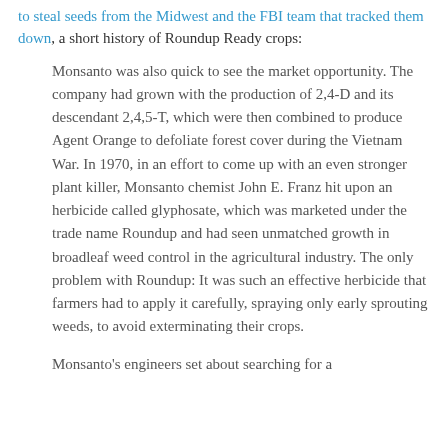to steal seeds from the Midwest and the FBI team that tracked them down, a short history of Roundup Ready crops:
Monsanto was also quick to see the market opportunity. The company had grown with the production of 2,4-D and its descendant 2,4,5-T, which were then combined to produce Agent Orange to defoliate forest cover during the Vietnam War. In 1970, in an effort to come up with an even stronger plant killer, Monsanto chemist John E. Franz hit upon an herbicide called glyphosate, which was marketed under the trade name Roundup and had seen unmatched growth in broadleaf weed control in the agricultural industry. The only problem with Roundup: It was such an effective herbicide that farmers had to apply it carefully, spraying only early sprouting weeds, to avoid exterminating their crops.
Monsanto's engineers set about searching for a